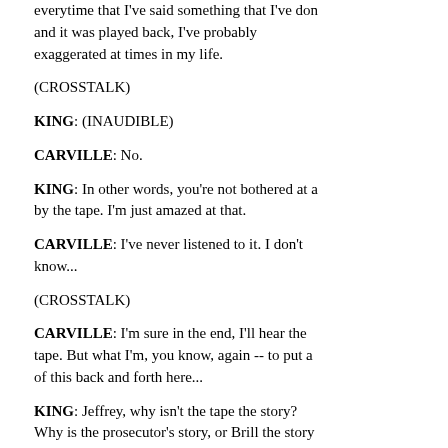everytime that I've said something that I've done and it was played back, I've probably exaggerated at times in my life.
(CROSSTALK)
KING: (INAUDIBLE)
CARVILLE: No.
KING: In other words, you're not bothered at all by the tape. I'm just amazed at that.
CARVILLE: I've never listened to it. I don't know...
(CROSSTALK)
CARVILLE: I'm sure in the end, I'll hear the tape. But what I'm, you know, again -- to put all of this back and forth here...
KING: Jeffrey, why isn't the tape the story? Why is the prosecutor's story, or Brill the story, or you the story, or reporters the story? Why is the tape the story? What happened there? It